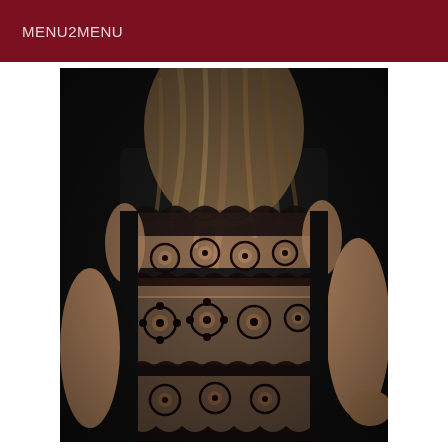MENU2MENU
[Figure (photo): Photo of a person from behind wearing a black lace dress, with dark blonde hair loose down their back. The lace top has an intricate floral/scallop pattern with a nude underlay visible through the black lace. Arms are visible at the sides.]